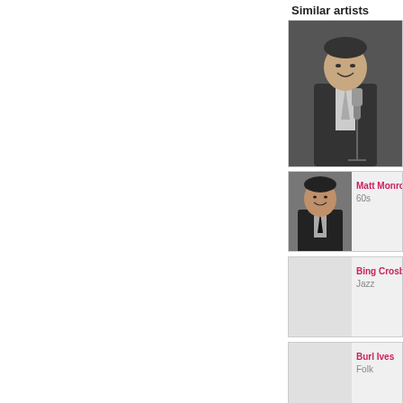Similar artists
[Figure (photo): Black and white photo of a male singer in a suit standing at a microphone]
[Figure (photo): Black and white portrait photo of Matt Monroe]
Matt Monroe
60s
Bing Crosby
Jazz
Burl Ives
Folk